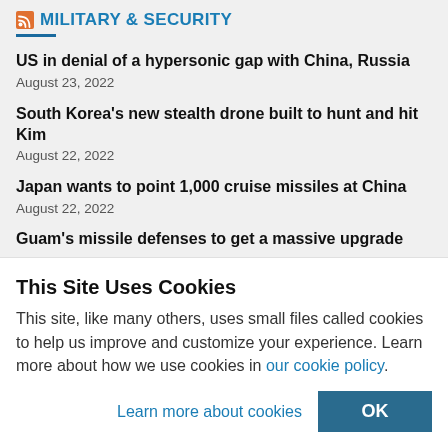MILITARY & SECURITY
US in denial of a hypersonic gap with China, Russia
August 23, 2022
South Korea's new stealth drone built to hunt and hit Kim
August 22, 2022
Japan wants to point 1,000 cruise missiles at China
August 22, 2022
Guam's missile defenses to get a massive upgrade
This Site Uses Cookies
This site, like many others, uses small files called cookies to help us improve and customize your experience. Learn more about how we use cookies in our cookie policy.
Learn more about cookies    OK